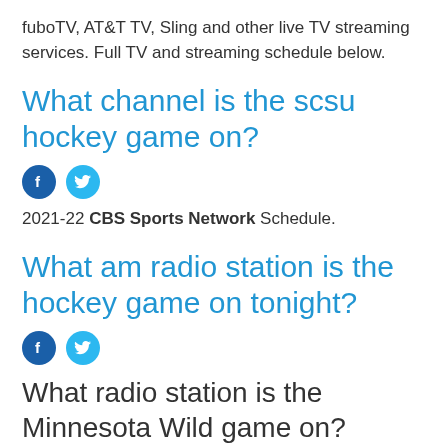fuboTV, AT&T TV, Sling and other live TV streaming services. Full TV and streaming schedule below.
What channel is the scsu hockey game on?
[Figure (other): Facebook and Twitter social share icons]
2021-22 CBS Sports Network Schedule.
What am radio station is the hockey game on tonight?
[Figure (other): Facebook and Twitter social share icons]
What radio station is the Minnesota Wild game on?